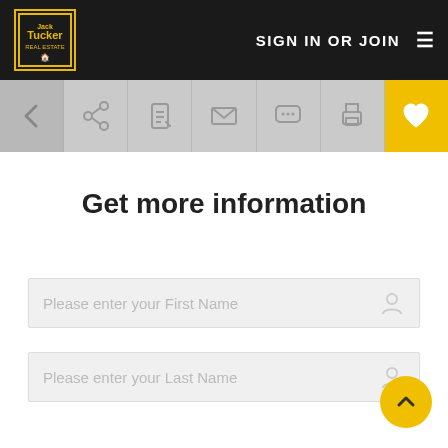SIGN IN OR JOIN
Get more information
Please enter your First Name
Please enter your Last Name
Please Enter Your Email Address